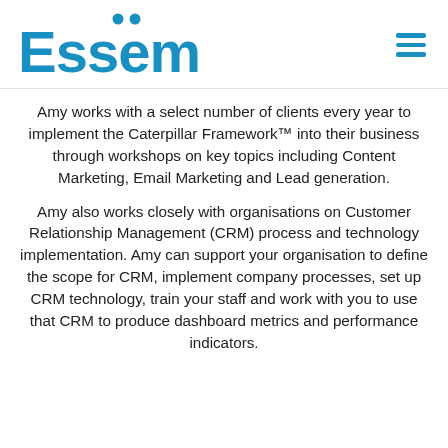Essemy [logo with hamburger menu]
Amy works with a select number of clients every year to implement the Caterpillar Framework™ into their business through workshops on key topics including Content Marketing, Email Marketing and Lead generation.
Amy also works closely with organisations on Customer Relationship Management (CRM) process and technology implementation. Amy can support your organisation to define the scope for CRM, implement company processes, set up CRM technology, train your staff and work with you to use that CRM to produce dashboard metrics and performance indicators.